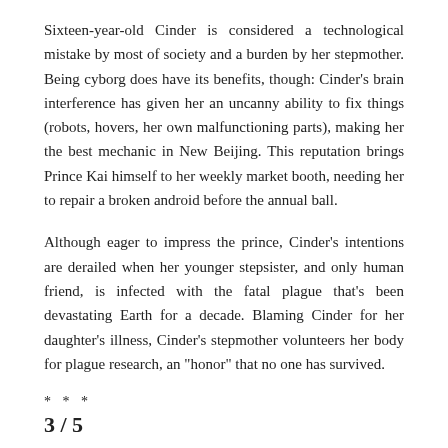Sixteen-year-old Cinder is considered a technological mistake by most of society and a burden by her stepmother. Being cyborg does have its benefits, though: Cinder's brain interference has given her an uncanny ability to fix things (robots, hovers, her own malfunctioning parts), making her the best mechanic in New Beijing. This reputation brings Prince Kai himself to her weekly market booth, needing her to repair a broken android before the annual ball.
Although eager to impress the prince, Cinder's intentions are derailed when her younger stepsister, and only human friend, is infected with the fatal plague that's been devastating Earth for a decade. Blaming Cinder for her daughter's illness, Cinder's stepmother volunteers her body for plague research, an "honor" that no one has survived.
* * *
3 / 5
Cinder is one of those books that you are vaguely aware of and yet have never actually seen anywhere. Having recently